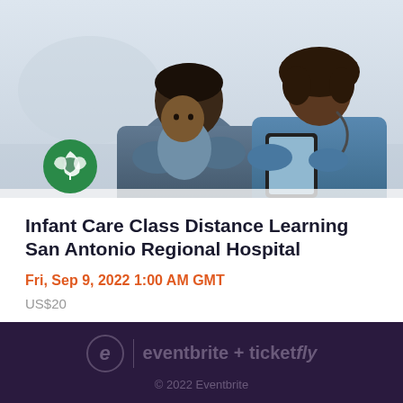[Figure (photo): A man holding a baby with a nurse in blue scrubs looking at a tablet together, with a green San Antonio Regional Hospital logo in the lower left of the image]
Infant Care Class Distance Learning San Antonio Regional Hospital
Fri, Sep 9, 2022 1:00 AM GMT
US$20
eventbrite + ticketfly © 2022 Eventbrite